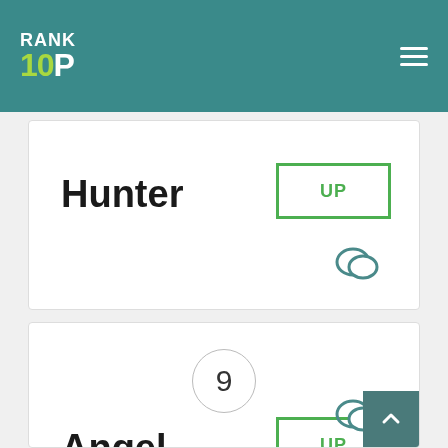[Figure (logo): Rank 10P logo in white and green on teal background header with hamburger menu icon]
Hunter
UP
9
Angel
UP